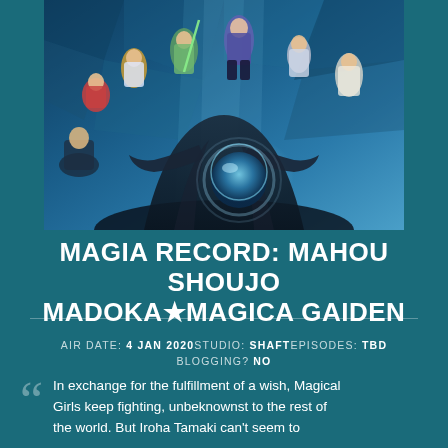[Figure (illustration): Anime promotional art for Magia Record: Mahou Shoujo Madoka Magica Gaiden, showing multiple magical girl characters standing against a blue glowing background with a dark figure holding a large sphere in the foreground.]
MAGIA RECORD: MAHOU SHOUJO MADOKA★MAGICA GAIDEN
AIR DATE: 4 JAN 2020 STUDIO: SHAFT EPISODES: TBD BLOGGING? NO
In exchange for the fulfillment of a wish, Magical Girls keep fighting, unbeknownst to the rest of the world. But Iroha Tamaki can't seem to